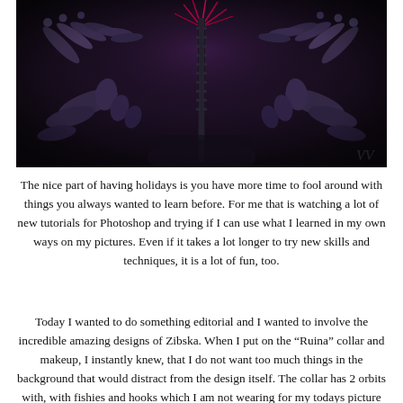[Figure (illustration): Dark digital art/illustration showing abstract 3D sculptural forms resembling tubes, cylinders, and organic shapes in dark purple/black tones with some red/pink accents, arranged symmetrically. A watermark 'W' is visible in the bottom right corner.]
The nice part of having holidays is you have more time to fool around with things you always wanted to learn before. For me that is watching a lot of new tutorials for Photoshop and trying if I can use what I learned in my own ways on my pictures. Even if it takes a lot longer to try new skills and techniques, it is a lot of fun, too.
Today I wanted to do something editorial and I wanted to involve the incredible amazing designs of Zibska. When I put on the “Ruina” collar and makeup, I instantly knew, that I do not want too much things in the background that would distract from the design itself. The collar has 2 orbits with, with fishies and hooks which I am not wearing for my todays picture